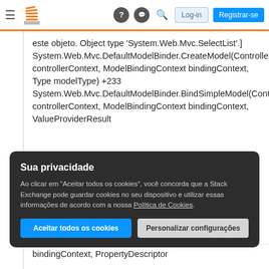Stack Overflow navigation bar with hamburger menu, logo, icons, Log-in and Registrar-se buttons
este objeto. Object type 'System.Web.Mvc.SelectList'.] System.Web.Mvc.DefaultModelBinder.CreateModel(ControllerContext controllerContext, ModelBindingContext bindingContext, Type modelType) +233 System.Web.Mvc.DefaultModelBinder.BindSimpleModel(ControllerContext controllerContext, ModelBindingContext bindingContext, ValueProviderResult
bindingContext, PropertyDescriptor
Sua privacidade
Ao clicar em "Aceitar todos os cookies", você concorda que a Stack Exchange pode guardar cookies no seu dispositivo e utilizar essas informações de acordo com a nossa Política de Cookies.
Aceitar todos os cookies  |  Personalizar configurações